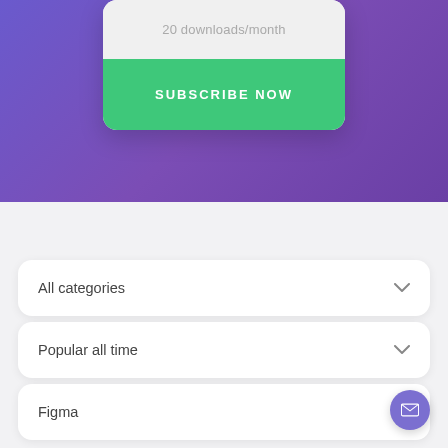20 downloads/month
SUBSCRIBE NOW
All categories
Popular all time
Figma